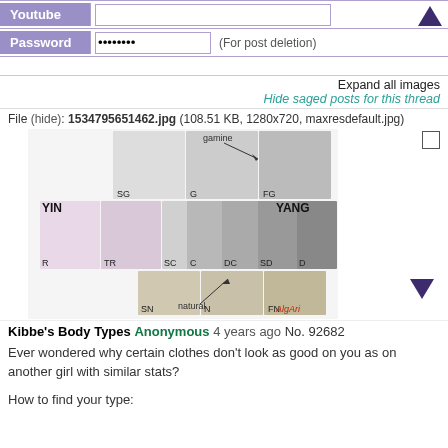Youtube (input field)
Password ●●●●●●●● (For post deletion)
Expand all images
Hide saged posts for this thread
File (hide): 1534795651462.jpg (108.51 KB, 1280x720, maxresdefault.jpg)
[Figure (infographic): Kibbe body types chart showing YIN to YANG spectrum with female face photos labeled SG, G, FG, R, TR, SC, C, DC, SD, D, SN, N, FN, with gamine and natural labels]
Kibbe's Body Types Anonymous 4 years ago No. 92682
Ever wondered why certain clothes don't look as good on you as on another girl with similar stats?
How to find your type: